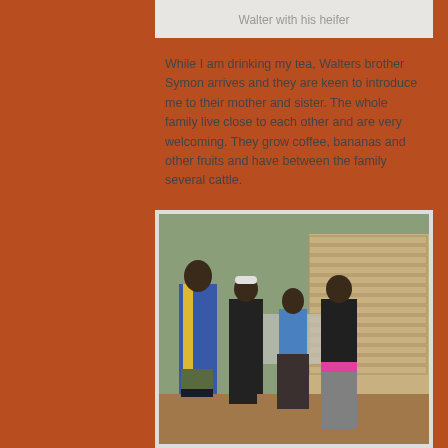Walter with his heifer
While I am drinking my tea, Walters brother Symon arrives and they are keen to introduce me to their mother and sister. The whole family live close to each other and are very welcoming. They grow coffee, bananas and other fruits and have between the family several cattle.
[Figure (photo): Group photo of four people standing outside in front of a stone building and a car. From left: a tall man in a blue and yellow tracksuit jacket with grey trousers, a man in a black tracksuit with a white cap and arms crossed, an older woman in a blue top and patterned skirt, and a woman in a black jumper and grey skirt with pink trim.]